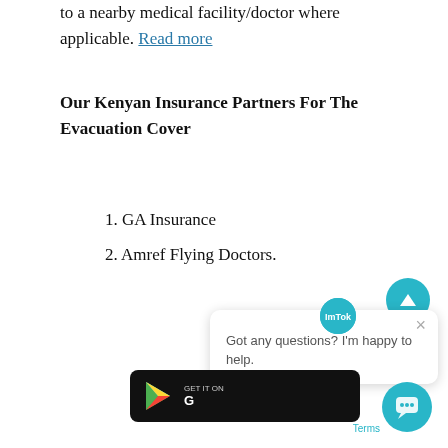to a nearby medical facility/doctor where applicable. Read more
Our Kenyan Insurance Partners For The Evacuation Cover
1. GA Insurance
2. Amref Flying Doctors.
[Figure (screenshot): Scroll-to-top teal circular button with upward triangle arrow]
[Figure (screenshot): Chat popup with ImTok avatar icon and message: Got any questions? I'm happy to help. with X close button]
[Figure (screenshot): Google Play badge (black rounded rectangle) partially visible with Google Play triangle logo]
[Figure (screenshot): Teal circular chat widget button at bottom right with chat bubble icon, and 'Terms' label]